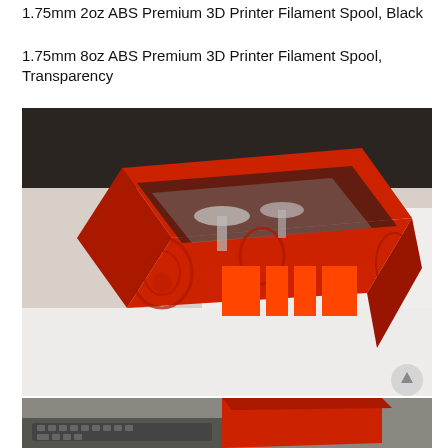1.75mm 2oz ABS Premium 3D Printer Filament Spool, Black
1.75mm 8oz ABS Premium 3D Printer Filament Spool, Transparency
[Figure (photo): A red 3D-printed open box/cube structure sitting on a white surface, with decorative patterns on its sides. Orange redacted rectangles visible in the center of the image. Dark table surface visible in background.]
[Figure (photo): Partial view of a red 3D-printed box near a laptop keyboard, bottom portion of page.]